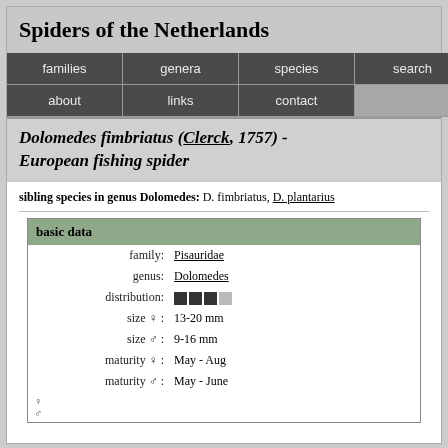Spiders of the Netherlands
families | genera | species | search | about | links | contact
Dolomedes fimbriatus (Clerck, 1757) - European fishing spider
sibling species in genus Dolomedes: D. fimbriatus, D. plantarius
| field | value |
| --- | --- |
| family: | Pisauridae |
| genus: | Dolomedes |
| distribution: | ■■■□ |
| size ♀: | 13-20 mm |
| size ♂: | 9-16 mm |
| maturity ♀: | May - Aug |
| maturity ♂: | May - June |